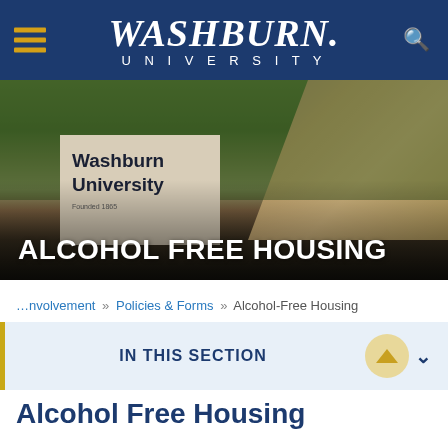[Figure (screenshot): Washburn University website header with navy blue navigation bar showing hamburger menu, Washburn University logo in white serif font, and search icon]
[Figure (photo): Washburn University campus entrance sign surrounded by trees and rock waterfall, with overlay text ALCOHOL FREE HOUSING]
…nvolvement » Policies & Forms » Alcohol-Free Housing
IN THIS SECTION
Alcohol Free Housing